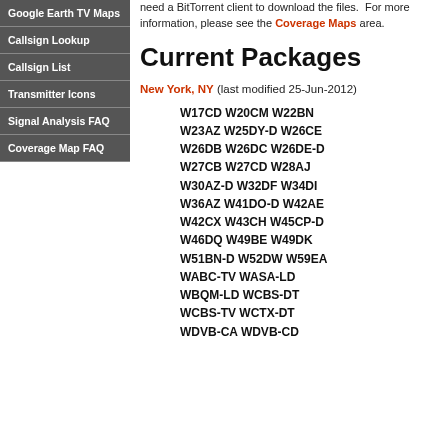Google Earth TV Maps
Callsign Lookup
Callsign List
Transmitter Icons
Signal Analysis FAQ
Coverage Map FAQ
need a BitTorrent client to download the files.  For more information, please see the Coverage Maps area.
Current Packages
New York, NY (last modified 25-Jun-2012)
W17CD W20CM W22BN W23AZ W25DY-D W26CE W26DB W26DC W26DE-D W27CB W27CD W28AJ W30AZ-D W32DF W34DI W36AZ W41DO-D W42AE W42CX W43CH W45CP-D W46DQ W49BE W49DK W51BN-D W52DW W59EA WABC-TV WASA-LD WBQM-LD WCBS-DT WCBS-TV WCTX-DT WDVB-CA WDVB-CD